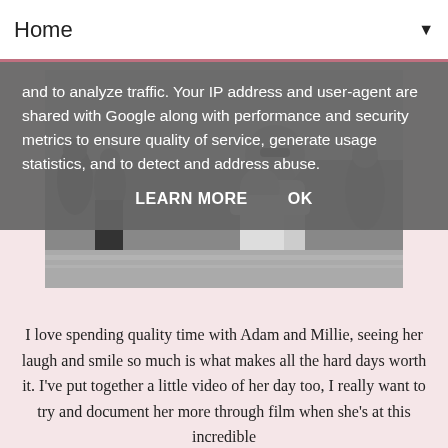Home ▼
and to analyze traffic. Your IP address and user-agent are shared with Google along with performance and security metrics to ensure quality of service, generate usage statistics, and to detect and address abuse.
LEARN MORE   OK
[Figure (photo): Black and white photo of a bearded man wearing sunglasses carrying a young child wrapped in a towel at what appears to be a pool area with other people in the background]
I love spending quality time with Adam and Millie, seeing her laugh and smile so much is what makes all the hard days worth it. I've put together a little video of her day too, I really want to try and document her more through film when she's at this incredible